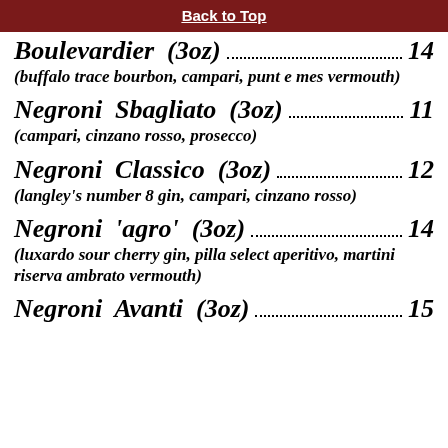Back to Top
Boulevardier (3oz) .... 14
(buffalo trace bourbon, campari, punt e mes vermouth)
Negroni Sbagliato (3oz) .... 11
(campari, cinzano rosso, prosecco)
Negroni Classico (3oz) .... 12
(langley's number 8 gin, campari, cinzano rosso)
Negroni 'agro' (3oz) .... 14
(luxardo sour cherry gin, pilla select aperitivo, martini riserva ambrato vermouth)
Negroni Avanti (3oz) .... 15